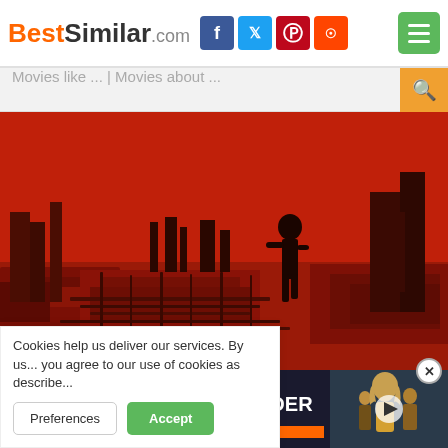[Figure (logo): BestSimilar.com logo with orange 'Best' and dark 'Similar' text, followed by social media icons (Facebook, Twitter, Pinterest, Reddit) and a green menu button]
Movies like ... | Movies about ...
[Figure (photo): Movie promotional image with red background showing a silhouette of a person standing among dark urban ruins]
TRAILER
[Figure (screenshot): Setlist.fm Insider with Melvins advertisement showing band members on right side with a play button]
Cookies help us deliver our services. By us... you agree to our use of cookies as describe...
Preferences
Accept